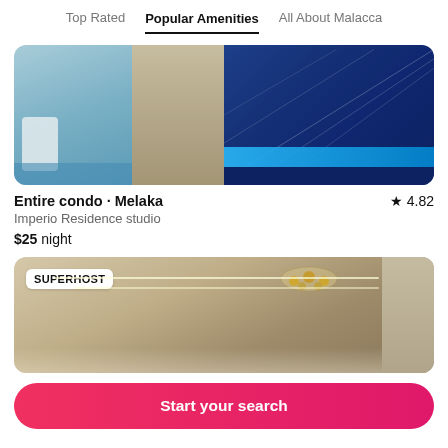Top Rated  Popular Amenities  All About Malacca
[Figure (photo): Interior photo of a room with blue sofa/bed and decorative patterned headboard]
Entire condo · Melaka  ★ 4.82
Imperio Residence studio
$25 night
[Figure (photo): Interior photo of a condo showing ceiling with chandelier, with SUPERHOST badge overlay]
Start your search